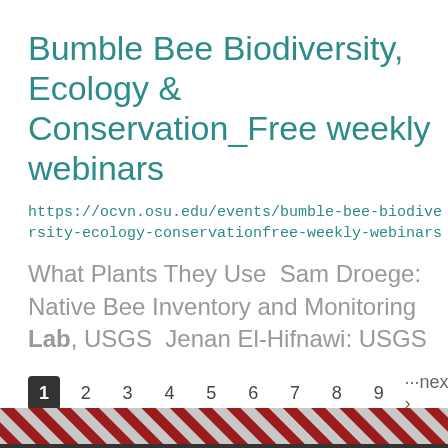Bumble Bee Biodiversity, Ecology & Conservation_Free weekly webinars
https://ocvn.osu.edu/events/bumble-bee-biodiversity-ecology-conservationfree-weekly-webinars
What Plants They Use  Sam Droege: Native Bee Inventory and Monitoring Lab, USGS  Jenan El-Hifnawi: USGS ...
1 2 3 4 5 6 7 8 9 ···next › last »